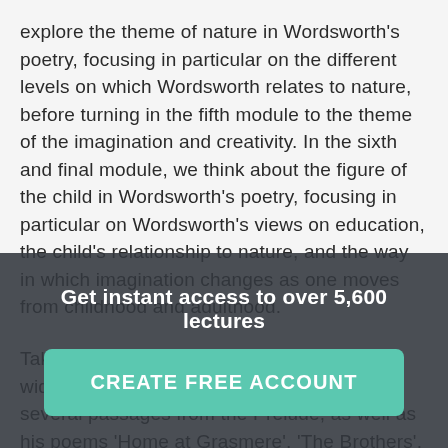explore the theme of nature in Wordsworth's poetry, focusing in particular on the different levels on which Wordsworth relates to nature, before turning in the fifth module to the theme of the imagination and creativity. In the sixth and final module, we think about the figure of the child in Wordsworth's poetry, focusing in particular on Wordsworth's views on education, the child's relationship to nature, and the way in which imagination changes as one moves from childhood and adulthood.

Taken as a whole, this course covers a very wide range of Wordsworth's poetry, including several passages from the Prelude, as well as his poems 'Home at Grasmere', 'The Brothers', 'The Naming of Places', 'The Excursion', 'The Idiot Boy', 'The Leech Gatherer', 'Lines Written in Early Spring', 'A Slumber Did My Spirit Seal', and 'Lines Written in Early Spring', 'Simon Lee: The Old
Get instant access to over 5,600 lectures
CREATE FREE ACCOUNT